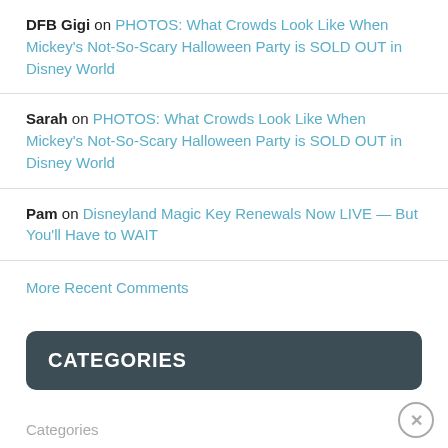DFB Gigi on PHOTOS: What Crowds Look Like When Mickey's Not-So-Scary Halloween Party is SOLD OUT in Disney World
Sarah on PHOTOS: What Crowds Look Like When Mickey's Not-So-Scary Halloween Party is SOLD OUT in Disney World
Pam on Disneyland Magic Key Renewals Now LIVE — But You'll Have to WAIT
More Recent Comments
CATEGORIES
Categories